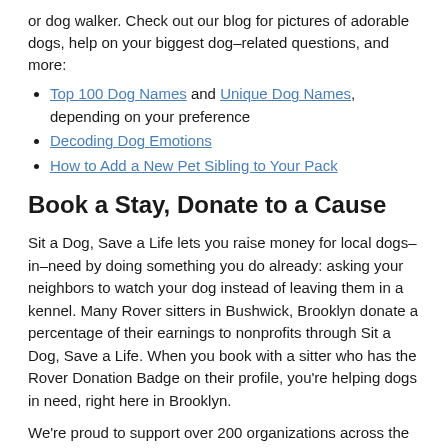or dog walker. Check out our blog for pictures of adorable dogs, help on your biggest dog–related questions, and more:
Top 100 Dog Names and Unique Dog Names, depending on your preference
Decoding Dog Emotions
How to Add a New Pet Sibling to Your Pack
Book a Stay, Donate to a Cause
Sit a Dog, Save a Life lets you raise money for local dogs–in–need by doing something you do already: asking your neighbors to watch your dog instead of leaving them in a kennel. Many Rover sitters in Bushwick, Brooklyn donate a percentage of their earnings to nonprofits through Sit a Dog, Save a Life. When you book with a sitter who has the Rover Donation Badge on their profile, you're helping dogs in need, right here in Brooklyn.
We're proud to support over 200 organizations across the nation, including:
American Pit Bull Foundation
Freedom Service Dogs of America
PAWS